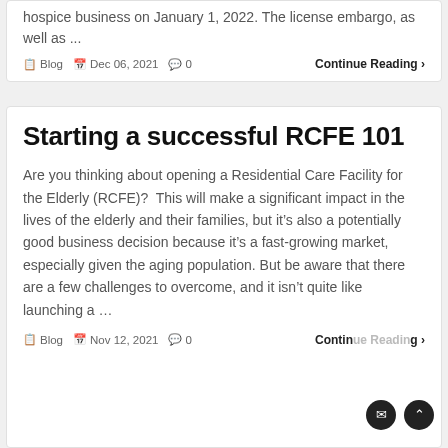hospice business on January 1, 2022. The license embargo, as well as ...
Blog  Dec 06, 2021  0  Continue Reading >
Starting a successful RCFE 101
Are you thinking about opening a Residential Care Facility for the Elderly (RCFE)?  This will make a significant impact in the lives of the elderly and their families, but it’s also a potentially good business decision because it’s a fast-growing market, especially given the aging population. But be aware that there are a few challenges to overcome, and it isn’t quite like launching a ...
Blog  Nov 12, 2021  0  Continue Reading >